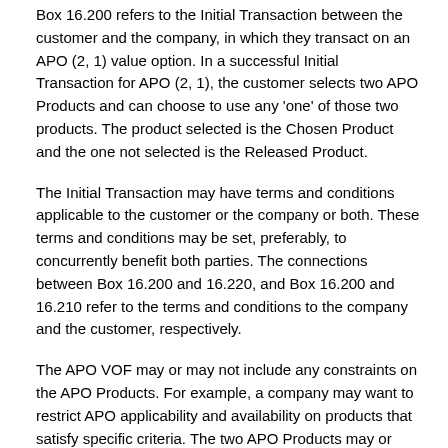Box 16.200 refers to the Initial Transaction between the customer and the company, in which they transact on an APO (2, 1) value option. In a successful Initial Transaction for APO (2, 1), the customer selects two APO Products and can choose to use any 'one' of those two products. The product selected is the Chosen Product and the one not selected is the Released Product.
The Initial Transaction may have terms and conditions applicable to the customer or the company or both. These terms and conditions may be set, preferably, to concurrently benefit both parties. The connections between Box 16.200 and 16.220, and Box 16.200 and 16.210 refer to the terms and conditions to the company and the customer, respectively.
The APO VOF may or may not include any constraints on the APO Products. For example, a company may want to restrict APO applicability and availability on products that satisfy specific criteria. The two APO Products may or may not include practically constrained products. Practical constraints may include one or more constraints that will prevent a customer to utilize one or more given Products or